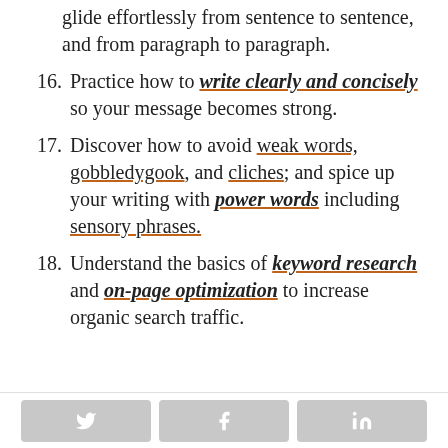glide effortlessly from sentence to sentence, and from paragraph to paragraph.
16. Practice how to write clearly and concisely so your message becomes strong.
17. Discover how to avoid weak words, gobbledygook, and cliches; and spice up your writing with power words including sensory phrases.
18. Understand the basics of keyword research and on-page optimization to increase organic search traffic.